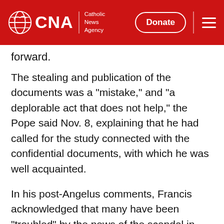CNA | Catholic News Agency
forward.
The stealing and publication of the documents was a "mistake," and "a deplorable act that does not help," the Pope said Nov. 8, explaining that he had called for the study connected with the confidential documents, with which he was well acquainted.
In his post-Angelus comments, Francis acknowledged that many have been "troubled" by the news of the scandal in recent days.